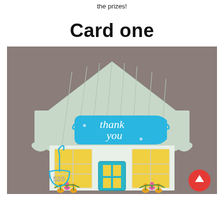the prizes!
Card one
[Figure (photo): A decorative handmade greeting card shaped like a house. The card has a light mint/gray roof with scalloped edges and vertical stripe detail. A blue decorative label in the center reads 'thank you' in white script. The front of the house has yellow windows with grid lines, a teal door, and colorful flowers (orange and pink) at the base. There is a hanging sign on the left reading '520' in teal. The card sits on a gray-brown background. A red circular scroll-to-top button with a white upward arrow is visible in the lower right corner.]